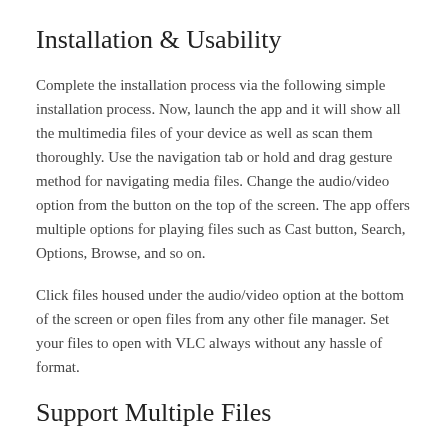Installation & Usability
Complete the installation process via the following simple installation process. Now, launch the app and it will show all the multimedia files of your device as well as scan them thoroughly. Use the navigation tab or hold and drag gesture method for navigating media files. Change the audio/video option from the button on the top of the screen. The app offers multiple options for playing files such as Cast button, Search, Options, Browse, and so on.
Click files housed under the audio/video option at the bottom of the screen or open files from any other file manager. Set your files to open with VLC always without any hassle of format.
Support Multiple Files
Multiple different formats are available for allowing you to